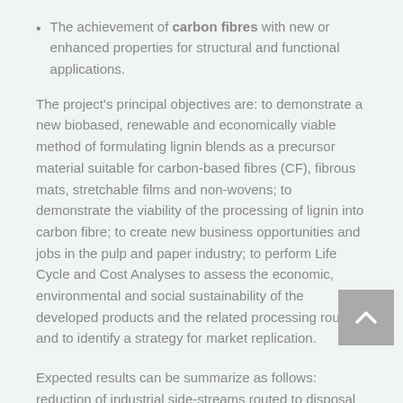The achievement of carbon fibres with new or enhanced properties for structural and functional applications.
The project's principal objectives are: to demonstrate a new biobased, renewable and economically viable method of formulating lignin blends as a precursor material suitable for carbon-based fibres (CF), fibrous mats, stretchable films and non-wovens; to demonstrate the viability of the processing of lignin into carbon fibre; to create new business opportunities and jobs in the pulp and paper industry; to perform Life Cycle and Cost Analyses to assess the economic, environmental and social sustainability of the developed products and the related processing routes, and to identify a strategy for market replication.
Expected results can be summarize as follows: reduction of industrial side-streams routed to disposal as waste, demonstrable operational and energy cost savings, introduction of 'lignin-to-(bio)-product' concepts at a semi-commercial scale, delivery of one new building block based